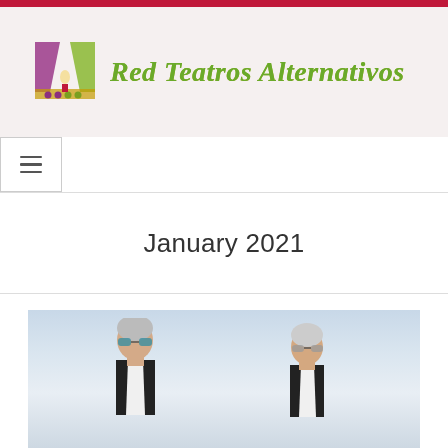Red Teatros Alternativos
January 2021
[Figure (photo): Two older men with silver/white hair wearing sunglasses and black vests over white shirts, standing outdoors against a cloudy sky background.]